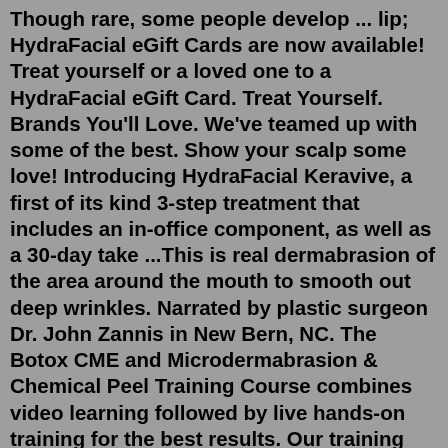Though rare, some people develop ... lip; HydraFacial eGift Cards are now available! Treat yourself or a loved one to a HydraFacial eGift Card. Treat Yourself. Brands You'll Love. We've teamed up with some of the best. Show your scalp some love! Introducing HydraFacial Keravive, a first of its kind 3-step treatment that includes an in-office component, as well as a 30-day take ...This is real dermabrasion of the area around the mouth to smooth out deep wrinkles. Narrated by plastic surgeon Dr. John Zannis in New Bern, NC. The Botox CME and Microdermabrasion & Chemical Peel Training Course combines video learning followed by live hands-on training for the best results. Our training requires participants to watch the entire video in advance and pass the post-test prior to attending the live hands-on session. Nobody attends our live training "cold".Microdermabrasion is a treatment that can help improve the appearance of facial skin. It is used for reducing wrinkles and treating a variety of conditions including acne, scars, warts, enlarged